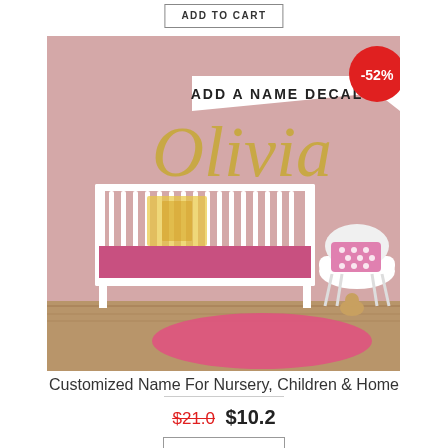ADD TO CART
[Figure (photo): Nursery room with a white crib, pink walls, a white modern chair with pink polka dot cushion, a pink round rug, and a gold script name decal 'Olivia' on the wall. A banner reads 'ADD A NAME DECAL'. A red circle badge shows '-52%'.]
Customized Name For Nursery, Children & Home
$21.0  $10.2
ADD TO CART